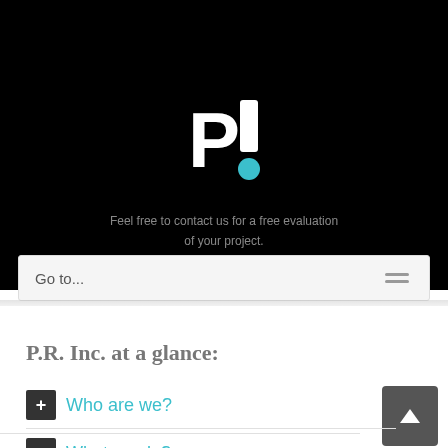[Figure (logo): P! logo with white bold P and exclamation mark with teal dot on black background]
Feel free to contact us for a free evaluation of your project.
Go to...
P.R. Inc. at a glance:
+ Who are we?
+ What we do?